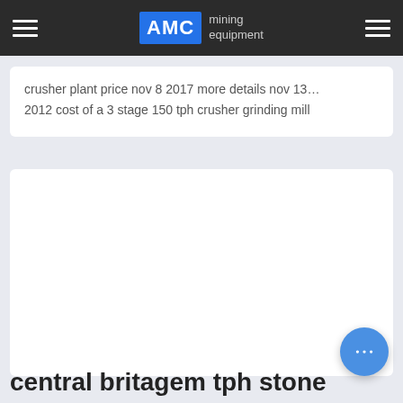AMC mining equipment
crusher plant price nov 8 2017 more details nov 13… 2012 cost of a 3 stage 150 tph crusher grinding mill
[Figure (other): Large white rectangular content card, empty/blank]
central britagem tph stone